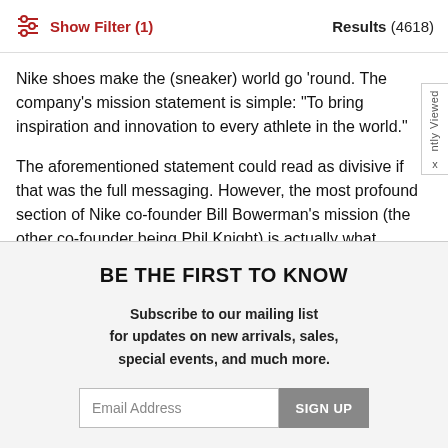Show Filter (1)   Results (4618)
Nike shoes make the (sneaker) world go 'round. The company's mission statement is simple: "To bring inspiration and innovation to every athlete in the world."
The aforementioned statement could read as divisive if that was the full messaging. However, the most profound section of Nike co-founder Bill Bowerman's mission (the other co-founder being Phil Knight) is actually what follows: "If you have a body, you are an athlete." Here lies a classic case of words manifesting into a reality — a pledge to
BE THE FIRST TO KNOW
Subscribe to our mailing list for updates on new arrivals, sales, special events, and much more.